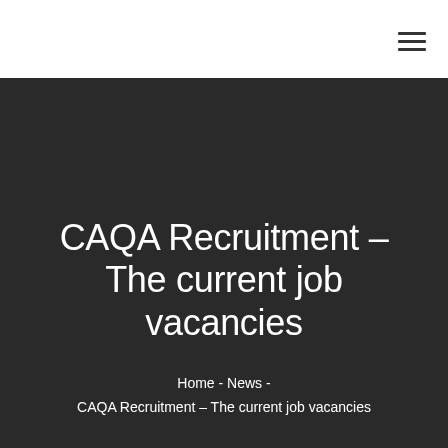≡
CAQA Recruitment – The current job vacancies
Home - News - CAQA Recruitment – The current job vacancies